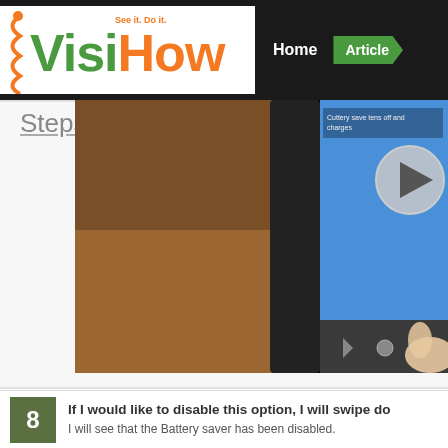VisiHow - See it. Do it. | Home | Articles
Steps
[Figure (screenshot): Video thumbnail showing a smartphone screen with a blue Android interface, a hand swiping on the screen, with a play button overlay. The phone is resting on a wooden surface.]
8. If I would like to disable this option, I will swipe do...